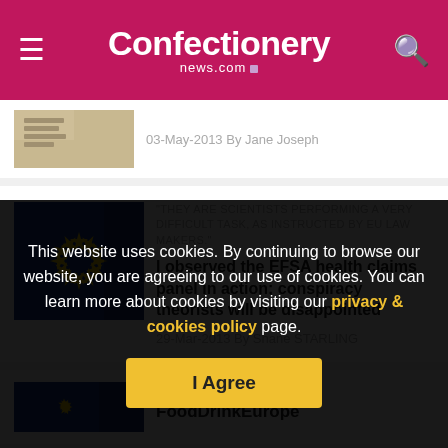Confectionery news.com
03-May-2013 By Jane Joseph
"THEY ARE SCIENTISTS PERFORMING A VERY DIFFICULT TASK, AS INSTRUCTED BY EU LAW MAKERS."
I observed the EFSA health claims panel in action; conspiracy theorists will be disappointed
29-Mar-2013 By Shane STARLING
EU health claims: FoodDrinkEurope
This website uses cookies. By continuing to browse our website, you are agreeing to our use of cookies. You can learn more about cookies by visiting our privacy & cookies policy page.